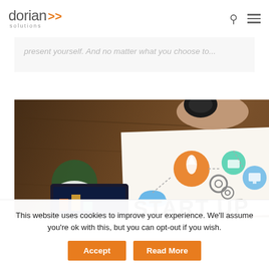dorian solutions
present yourself. And no matter what you choose to...
[Figure (photo): Overhead view of a desk with a person holding a coffee cup, a small plant in a pot, a tablet with analytics, and a paper showing a startup infographic with icons (rocket, gears, cloud, folder, screen) connected by dashed lines and the text 'START UP' in large handwritten style letters.]
This website uses cookies to improve your experience. We'll assume you're ok with this, but you can opt-out if you wish.
Accept
Read More